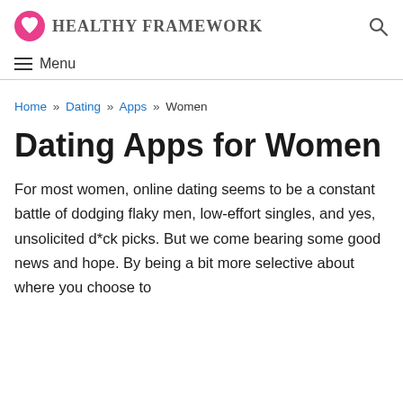HEALTHY FRAMEWORK
≡ Menu
Home » Dating » Apps » Women
Dating Apps for Women
For most women, online dating seems to be a constant battle of dodging flaky men, low-effort singles, and yes, unsolicited d*ck picks. But we come bearing some good news and hope. By being a bit more selective about where you choose to